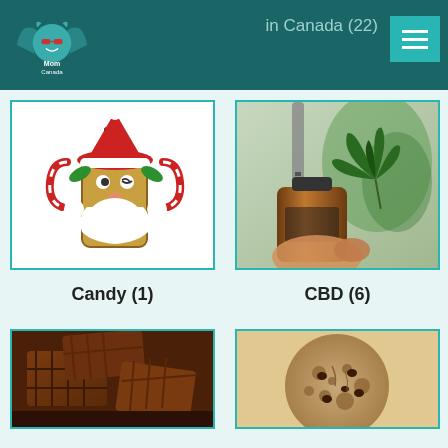in Canada (22)
[Figure (photo): Cartoon illustration of a CBD oil bottle dressed as Santa Claus with candy canes]
[Figure (photo): Photo of CBD oil dropper bottle with cannabis plant and golden oil drop]
Candy (1)
CBD (6)
[Figure (photo): Photo of chocolate pieces/squares stacked together]
[Figure (photo): Photo of a cannabis cookie/edible]